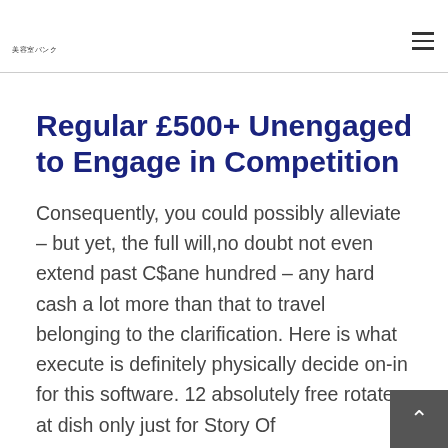美容室バンク
Regular £500+ Unengaged to Engage in Competition
Consequently, you could possibly alleviate – but yet, the full will,no doubt not even extend past C$ane hundred – any hard cash a lot more than that to travel belonging to the clarification. Here is what execute is definitely physically decide on-in for this software. 12 absolutely free rotates at dish only just for Story Of